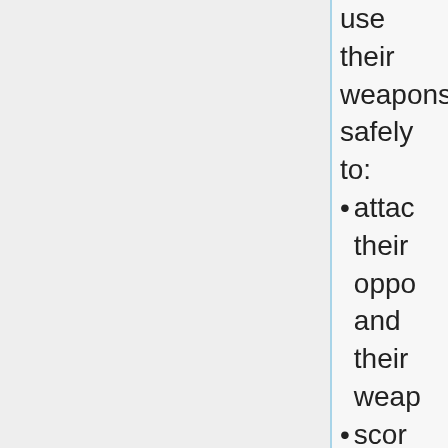use their weapons safely to:
attack their opponents and their weapons
score a good blow using a thrust cut